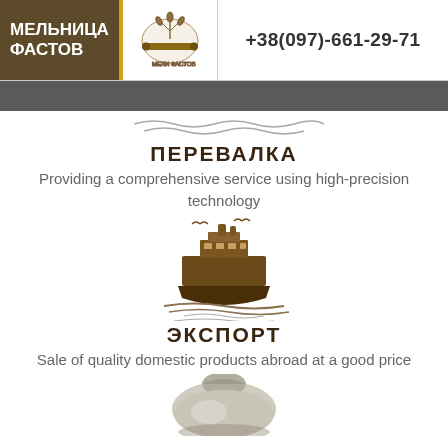МЕЛЬНИЦА ФАСТОВ  +38(097)-661-29-71
ПЕРЕВАЛКА
Providing a comprehensive service using high-precision technology
[Figure (illustration): Ship/cargo vessel icon with seagulls and water waves, brown color]
ЭКСПОРТ
Sale of quality domestic products abroad at a good price
[Figure (illustration): Flour/grain sack icon, brown and white color, partially visible at bottom]